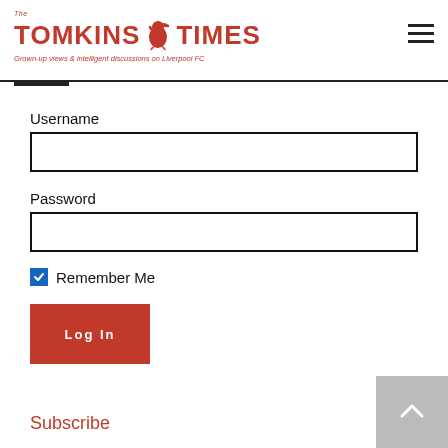The Tomkins Times — Grown-up views & intelligent discussions on Liverpool FC
Username
Password
Remember Me
Log In
Subscribe